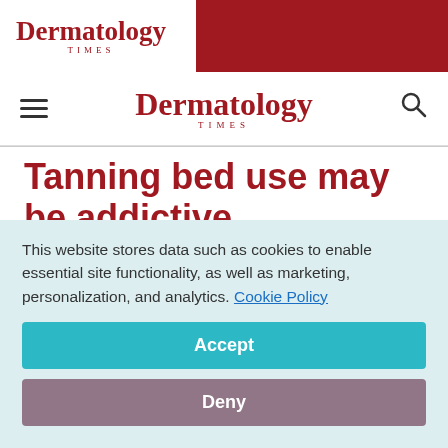Dermatology Times
Tanning bed use may be addictive
August 17, 2011
[Figure (illustration): Social media sharing icons: Facebook (dark blue circle), Twitter (light blue circle), LinkedIn (blue circle), Pinterest (red circle), and a gray circle share icon]
This website stores data such as cookies to enable essential site functionality, as well as marketing, personalization, and analytics. Cookie Policy
Accept
Deny